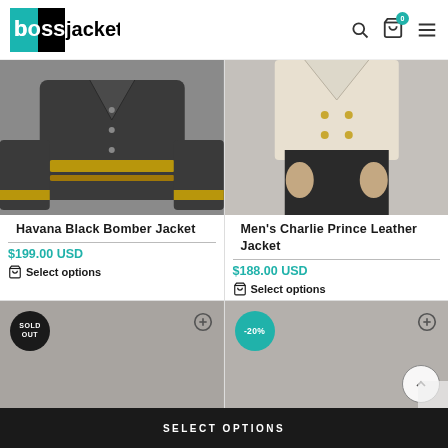[Figure (logo): Boss Jackets logo - black and teal square with white text 'boss' and 'jackets']
[Figure (photo): Havana Black Bomber Jacket product photo - dark leather jacket with gold trim]
Havana Black Bomber Jacket
$199.00 USD
Select options
[Figure (photo): Men's Charlie Prince Leather Jacket product photo - cream/ivory jacket with dark pants]
Men's Charlie Prince Leather Jacket
$188.00 USD
Select options
[Figure (photo): Partial product card with SOLD OUT badge]
[Figure (photo): Partial product card with -20% discount badge]
SELECT OPTIONS